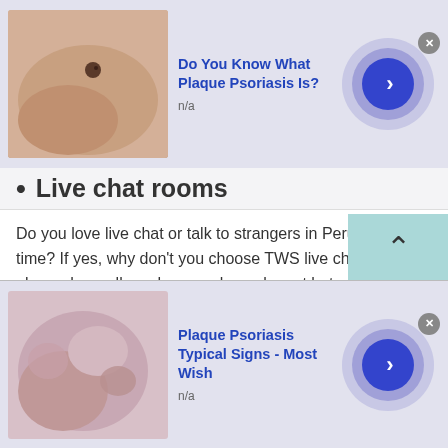[Figure (other): Top advertisement banner: image of skin with mole on left, bold blue title 'Do You Know What Plaque Psoriasis Is?', subtitle 'n/a', purple circular arrow button on right, close X button]
Live chat rooms
Do you love live chat or talk to strangers in Peru in real-time? If yes, why don't you choose TWS live chat? It is a place where all you have real people, not bots. So, if you are wondering whether to rely on live chat or not then stop thinking like that. Talkwithstranger app enables users to avail free online chat with 100% authenticity and reliability.

What do you think isn't fun to start a live chat and
[Figure (other): Bottom advertisement banner: image of skin with psoriasis patches on left, bold blue title 'Plaque Psoriasis Typical Signs - Most Wish', subtitle 'n/a', purple circular arrow button on right, close X button]